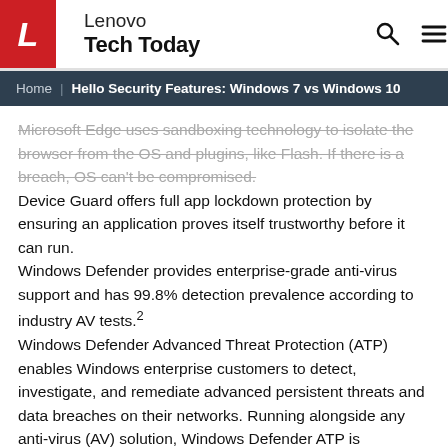Lenovo Tech Today
Home | Hello Security Features: Windows 7 vs Windows 10
Microsoft Edge uses sandboxing technology to isolate the browser from the OS and plugins, like Flash. If there is a breach, OS can't be compromised.
Device Guard offers full app lockdown protection by ensuring an application proves itself trustworthy before it can run.
Windows Defender provides enterprise-grade anti-virus support and has 99.8% detection prevalence according to industry AV tests.²
Windows Defender Advanced Threat Protection (ATP) enables Windows enterprise customers to detect, investigate, and remediate advanced persistent threats and data breaches on their networks. Running alongside any anti-virus (AV) solution, Windows Defender ATP is continuously up-to-date and can help lower costs.